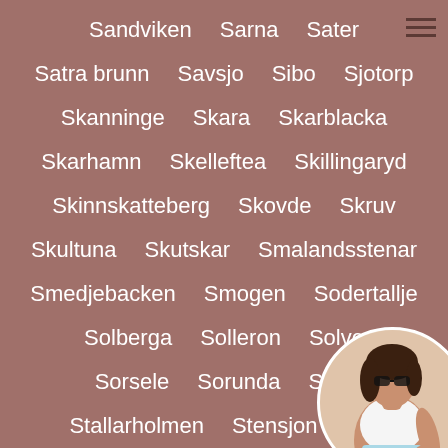Sandviken   Sarna   Sater
Satra brunn   Savsjo   Sibo   Sjotorp
Skanninge   Skara   Skarblacka
Skarhamn   Skelleftea   Skillingaryd
Skinnskatteberg   Skovde   Skruv
Skultuna   Skutskar   Smalandsstenar
Smedjebacken   Smogen   Sodertalje
Solberga   Solleron   Solvesborg
Sorsele   Sorunda   Staffanstorp
Stallarholmen   Stensjon   Storfors
[Figure (photo): Circular profile photo of a woman in a white top and light blue shorts, cropped at bottom-right corner of the page.]